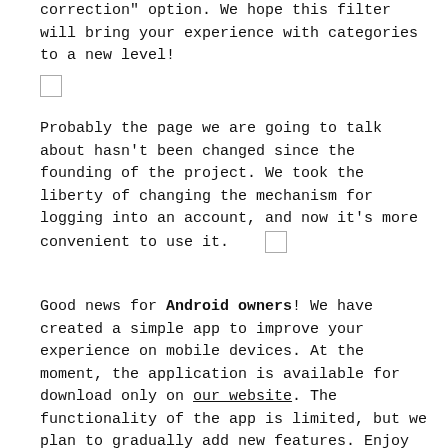correction" option. We hope this filter will bring your experience with categories to a new level!
[Figure (other): Small empty checkbox/image placeholder]
Probably the page we are going to talk about hasn't been changed since the founding of the project. We took the liberty of changing the mechanism for logging into an account, and now it's more convenient to use it.
[Figure (other): Small empty checkbox/image placeholder inline]
Good news for Android owners! We have created a simple app to improve your experience on mobile devices. At the moment, the application is available for download only on our website. The functionality of the app is limited, but we plan to gradually add new features. Enjoy it!
[Figure (other): Small empty checkbox/image placeholder]